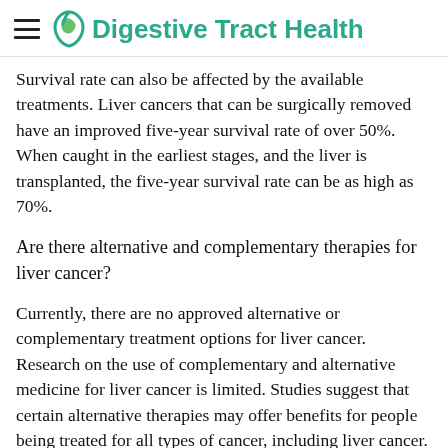Digestive Tract Health
Survival rate can also be affected by the available treatments. Liver cancers that can be surgically removed have an improved five-year survival rate of over 50%. When caught in the earliest stages, and the liver is transplanted, the five-year survival rate can be as high as 70%.
Are there alternative and complementary therapies for liver cancer?
Currently, there are no approved alternative or complementary treatment options for liver cancer. Research on the use of complementary and alternative medicine for liver cancer is limited. Studies suggest that certain alternative therapies may offer benefits for people being treated for all types of cancer, including liver cancer. Some alternative treatments have been found to alleviate unwanted